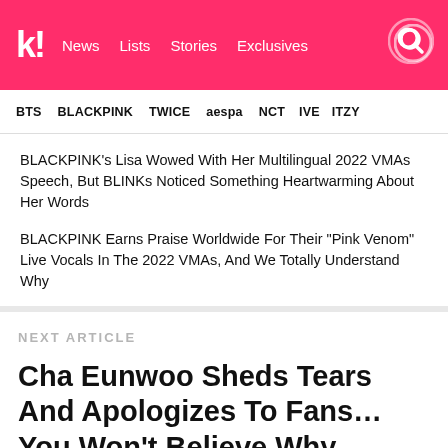koreaboo | News | Lists | Stories | Exclusives
BTS | BLACKPINK | TWICE | aespa | NCT | IVE | ITZY
BLACKPINK's Lisa Wowed With Her Multilingual 2022 VMAs Speech, But BLINKs Noticed Something Heartwarming About Her Words
BLACKPINK Earns Praise Worldwide For Their "Pink Venom" Live Vocals In The 2022 VMAs, And We Totally Understand Why
NEXT ARTICLE
Cha Eunwoo Sheds Tears And Apologizes To Fans… You Won't Believe Why